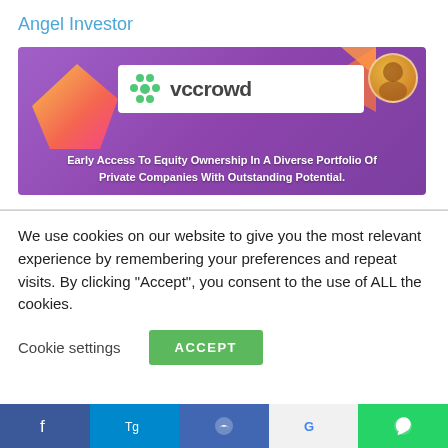Angel Investor
[Figure (illustration): VCCrowd banner ad with purple gradient background, gold diamond shapes, VCCrowd logo in white box, avatar icon, text: Early Access To Equity Ownership In A Diverse Portfolio Of Private Companies With Outstanding Potential.]
We use cookies on our website to give you the most relevant experience by remembering your preferences and repeat visits. By clicking “Accept”, you consent to the use of ALL the cookies.
Cookie settings
ACCEPT
Social share bar: Facebook, Telegram, Messenger, Google, WhatsApp